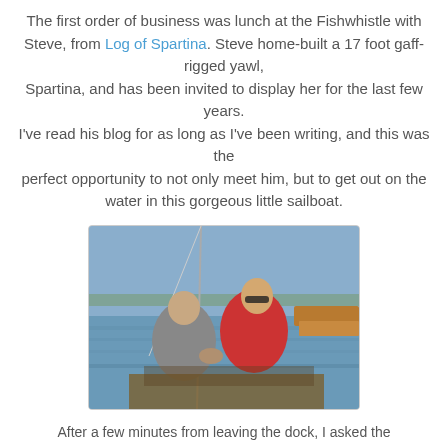The first order of business was lunch at the Fishwhistle with Steve, from Log of Spartina. Steve home-built a 17 foot gaff-rigged yawl, Spartina, and has been invited to display her for the last few years. I've read his blog for as long as I've been writing, and this was the perfect opportunity to not only meet him, but to get out on the water in this gorgeous little sailboat.
[Figure (photo): Two men sitting in a small wooden sailboat on open water. One man on the left wears a grey hoodie, the other on the right wears a red jacket and sunglasses. Wooden gunwale visible on the right side. Mast and rigging visible on the left.]
After a few minutes from leaving the dock, I asked the